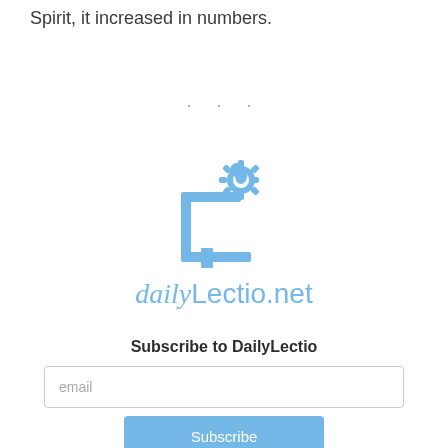Spirit, it increased in numbers.
· · ·
[Figure (logo): DailyLectio.net logo with a book and sun icon in light blue, with text 'dailyLectio.net' below in light blue]
Subscribe to DailyLectio
email
Subscribe